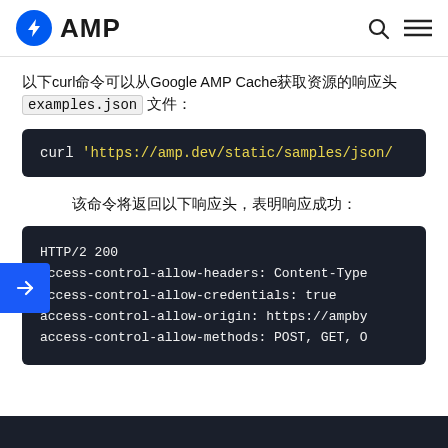AMP
以下curl命令可以从Google AMP Cache获取资源的响应头 examples.json 文件：
[Figure (screenshot): Code block showing: curl 'https://amp.dev/static/samples/json/]
该命令将返回以下响应头，表明响应成功：
[Figure (screenshot): Code block showing HTTP/2 200 response headers: access-control-allow-headers: Content-Type, access-control-allow-credentials: true, access-control-allow-origin: https://ampby, access-control-allow-methods: POST, GET, O]